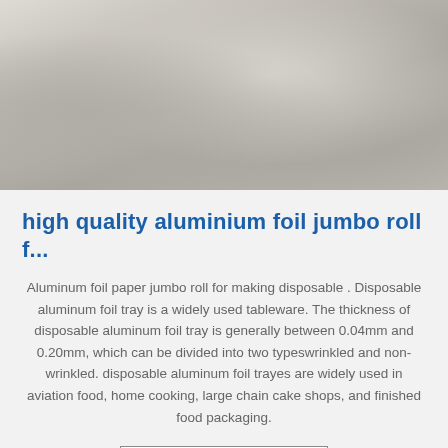[Figure (photo): Close-up photo of aluminum foil jumbo rolls stacked together, showing shiny metallic silver rolls from above]
high quality aluminium foil jumbo roll f...
Aluminum foil paper jumbo roll for making disposable . Disposable aluminum foil tray is a widely used tableware. The thickness of disposable aluminum foil tray is generally between 0.04mm and 0.20mm, which can be divided into two typeswrinkled and non-wrinkled. disposable aluminum foil trayes are widely used in aviation food, home cooking, large chain cake shops, and finished food packaging.
Get Price
[Figure (photo): Partial view of industrial setting with yellow and metallic machinery or equipment visible at bottom of page]